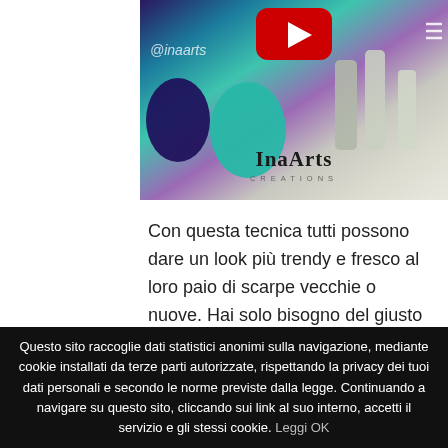[Figure (photo): InaArts Creations product image with YouTube play button overlay, @inaarts watermark, and hamburger menu icon. Shows nail polish bottles and accessories with turquoise and purple tones.]
Con questa tecnica tutti possono dare un look più trendy e fresco al loro paio di scarpe vecchie o nuove. Hai solo bisogno del giusto colore di smalto e, in alcuni minuti le scarpe saranno pronte! Buon divertimento!
With this technique everybody can give trendy
Questo sito raccoglie dati statistici anonimi sulla navigazione, mediante cookie installati da terze parti autorizzate, rispettando la privacy dei tuoi dati personali e secondo le norme previste dalla legge. Continuando a navigare su questo sito, cliccando sui link al suo interno, accetti il servizio e gli stessi cookie. Leggi OK